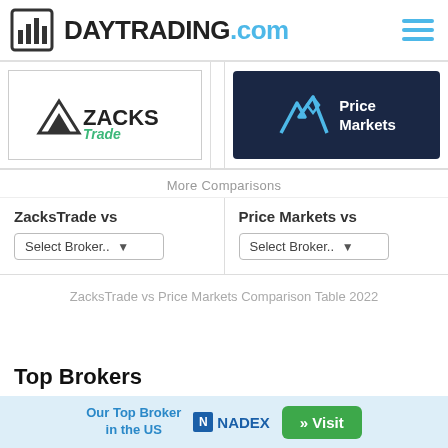DAYTRADING.com
[Figure (logo): ZacksTrade logo — black triangle with ZACKS in black and Trade in teal/green italic]
[Figure (logo): Price Markets logo — dark navy background with teal mountain/chevron icon and white text 'Price Markets']
More Comparisons
ZacksTrade vs
Select Broker..
Price Markets vs
Select Broker..
ZacksTrade vs Price Markets Comparison Table 2022
Top Brokers
Our Top Broker in the US
NADEX
» Visit